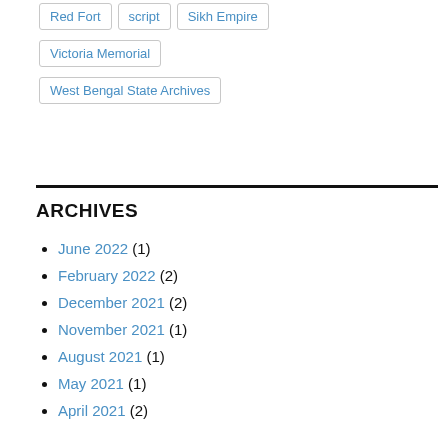Red Fort
script
Sikh Empire
Victoria Memorial
West Bengal State Archives
ARCHIVES
June 2022 (1)
February 2022 (2)
December 2021 (2)
November 2021 (1)
August 2021 (1)
May 2021 (1)
April 2021 (2)